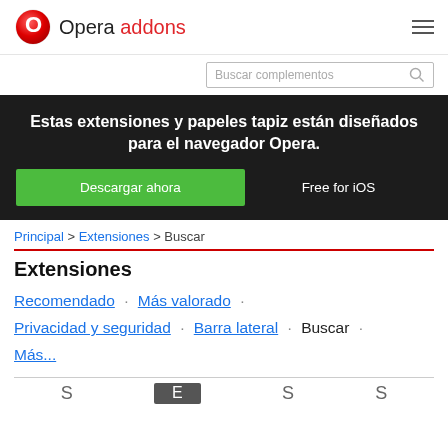Opera addons
Buscar complementos
[Figure (screenshot): Dark hero banner with text: Estas extensiones y papeles tapiz están diseñados para el navegador Opera. Buttons: Descargar ahora, Free for iOS]
Principal > Extensiones > Buscar
Extensiones
Recomendado · Más valorado · Privacidad y seguridad · Barra lateral · Buscar · Más...